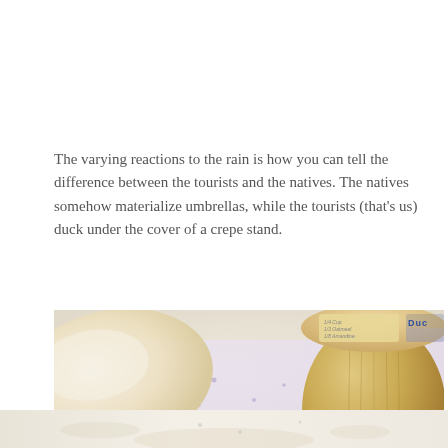The varying reactions to the rain is how you can tell the difference between the tourists and the natives. The natives somehow materialize umbrellas, while the tourists (that’s us) duck under the cover of a crepe stand.
[Figure (photo): Close-up food photo showing a crepe or pastry on the left and a round bread or pot with a label on the right, resting on a light purple/lavender patterned surface]
[Figure (photo): Partial continuation of the food photo at the bottom of the page showing a light beige food surface]